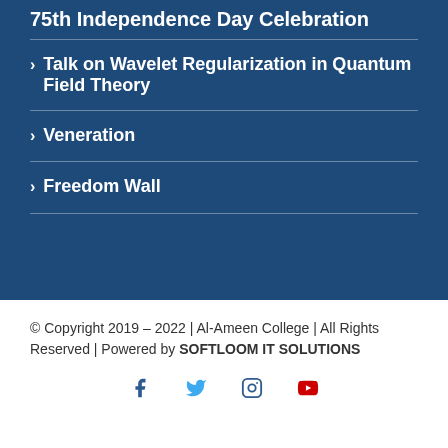75th Independence Day Celebration
Talk on Wavelet Regularization in Quantum Field Theory
Veneration
Freedom Wall
© Copyright 2019 – 2022 | Al-Ameen College | All Rights Reserved | Powered by SOFTLOOM IT SOLUTIONS